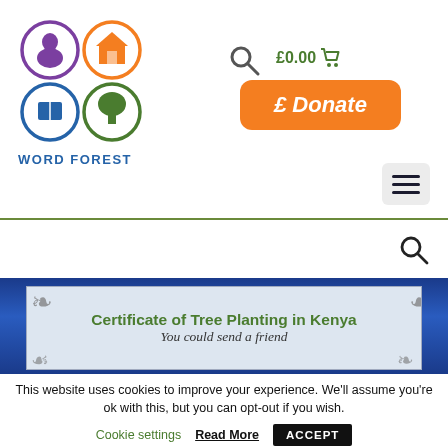[Figure (logo): Word Forest logo with four circles: purple (person), orange (house), blue (book/mail), green (tree). Text below reads WORD FOREST in blue.]
£0.00 🛒
[Figure (other): Orange donate button with text '£ Donate']
[Figure (other): Hamburger menu icon (three horizontal lines) in a light grey rounded box]
[Figure (other): Search icon (magnifying glass) below the divider line]
[Figure (screenshot): Certificate of Tree Planting in Kenya card with decorative border corners on blue background. Title: Certificate of Tree Planting in Kenya. Subtitle: You could send a friend]
This website uses cookies to improve your experience. We'll assume you're ok with this, but you can opt-out if you wish.
Cookie settings   Read More   ACCEPT